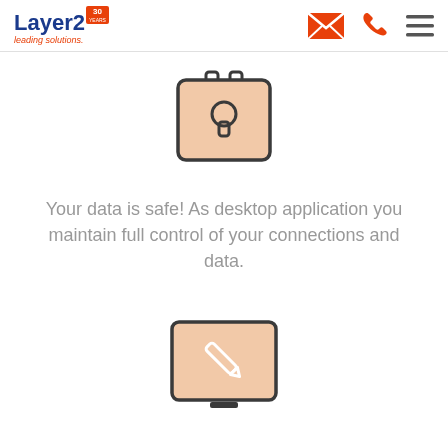Layer2 leading solutions. [30 years badge] [email icon] [phone icon] [menu icon]
[Figure (illustration): Padlock icon: a laptop/briefcase-shaped device with a rounded rectangle body filled with light peach/salmon color, dark outline, and a keyhole/lock symbol in the center. Hinge tabs at top.]
Your data is safe! As desktop application you maintain full control of your connections and data.
[Figure (illustration): Monitor/desktop screen icon with a light peach/salmon fill and dark outline, showing a pen/pencil tool icon in the center, with a small stand bar at the bottom.]